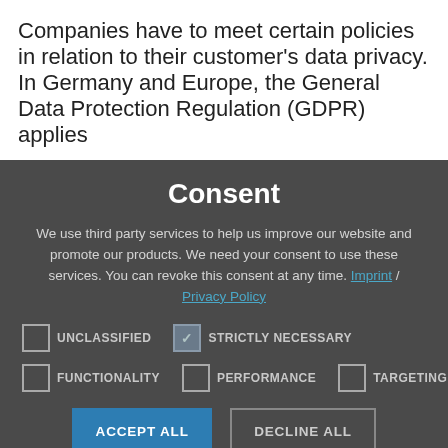Companies have to meet certain policies in relation to their customer's data privacy. In Germany and Europe, the General Data Protection Regulation (GDPR) applies
Consent
We use third party services to help us improve our website and promote our products. We need your consent to use these services. You can revoke this consent at any time. Imprint / Privacy Policy
UNCLASSIFIED (unchecked)
STRICTLY NECESSARY (checked)
FUNCTIONALITY (unchecked)
PERFORMANCE (unchecked)
TARGETING (unchecked)
ACCEPT ALL | DECLINE ALL
SHOW DETAILS